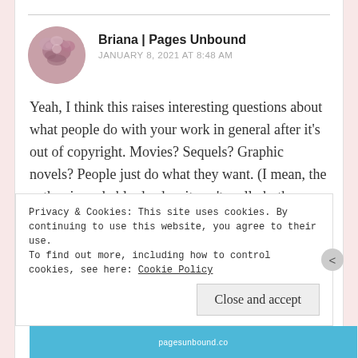Briana | Pages Unbound
JANUARY 8, 2021 AT 8:48 AM
Yeah, I think this raises interesting questions about what people do with your work in general after it's out of copyright. Movies? Sequels? Graphic novels? People just do what they want. (I mean, the author is probably dead so it can't really bother them but still.)
Privacy & Cookies: This site uses cookies. By continuing to use this website, you agree to their use.
To find out more, including how to control cookies, see here: Cookie Policy
Close and accept